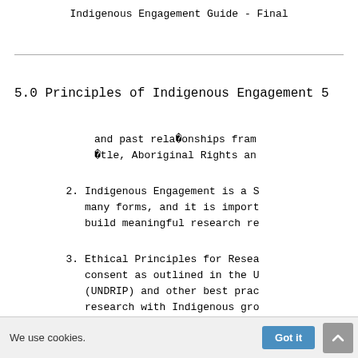Indigenous Engagement Guide - Final
5.0 Principles of Indigenous Engagement 5
and past rela�onships fram
�tle, Aboriginal Rights an
2. Indigenous Engagement is a S many forms, and it is import build meaningful research re
3. Ethical Principles for Resea consent as outlined in the U (UNDRIP) and other best prac research with Indigenous gro
4. Indigenous Protocols for Res